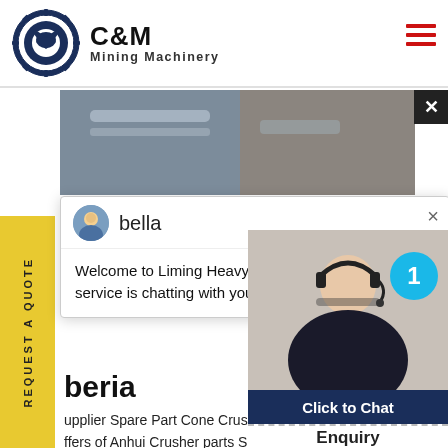[Figure (logo): C&M Mining Machinery logo with eagle gear icon in navy blue circle and bold text C&M Mining Machinery]
[Figure (photo): Industrial/mining equipment photo strip showing machinery and workers]
[Figure (screenshot): Live chat popup with avatar of 'bella' agent, welcome message from Liming Heavy Industry]
Welcome to Liming Heavy Industry! Now our on-line service is chatting with you! please choose: 1.English
beria
upplier Spare Part Cone Crushe ffers of Anhui Crusher parts Sup o. Ltd. TradeKey.com is a B2B m suppliers buyers manufacturers resellers . impact crusher cone c
[Figure (photo): Customer service agent photo with headset, chat widget with Click to Chat button and Enquiry section]